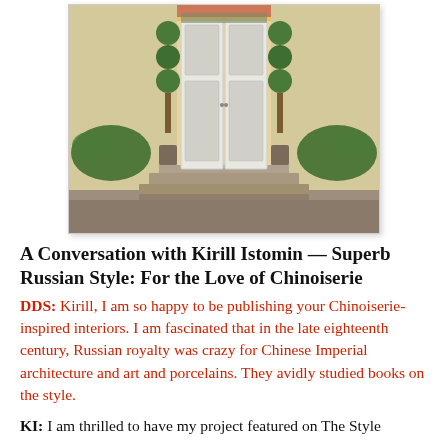[Figure (photo): Exterior photograph of a building entrance with white double doors, stone steps, flanking green topiary plants and tropical plants, decorative trim on the facade, beige exterior walls.]
A Conversation with Kirill Istomin — Superb Russian Style: For the Love of Chinoiserie
DDS: Kirill, I am so happy to be publishing your Chinoiserie-inspired interiors. I am fascinated that in the late eighteenth century, Russian royalty was crazy for Chinese Imperial architecture and art and porcelains. They avidly studied books on the style.
KI: I am thrilled to have my project featured on The Style